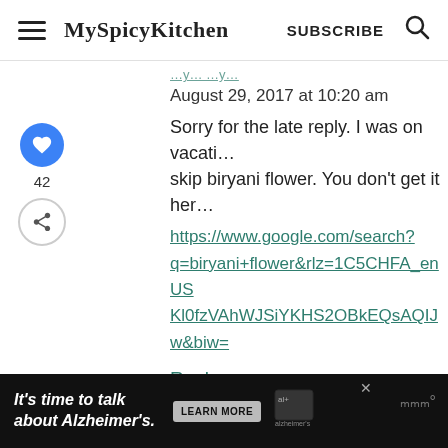MySpicyKitchen SUBSCRIBE
August 29, 2017 at 10:20 am
Sorry for the late reply. I was on vacati… skip biryani flower. You don't get it her…
https://www.google.com/search?q=biryani+flower&rlz=1C5CHFA_enUS…Kl0fzVAhWJSiYKHS2OBkEQsAQIJw&biw=
Reply